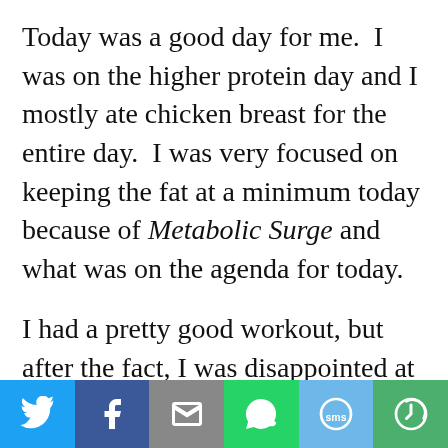Today was a good day for me.  I was on the higher protein day and I mostly ate chicken breast for the entire day.  I was very focused on keeping the fat at a minimum today because of Metabolic Surge and what was on the agenda for today.
I had a pretty good workout, but after the fact, I was disappointed at myself for not pushing as hard as I know I could.
[Figure (infographic): Social sharing bar with six buttons: Twitter (light blue), Facebook (dark blue), Email (gray), WhatsApp (green), SMS (light blue), More (green)]